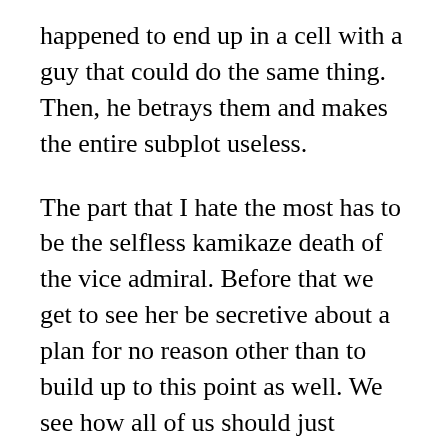happened to end up in a cell with a guy that could do the same thing. Then, he betrays them and makes the entire subplot useless.
The part that I hate the most has to be the selfless kamikaze death of the vice admiral. Before that we get to see her be secretive about a plan for no reason other than to build up to this point as well. We see how all of us should just believe her and trust her for no reason. Then as everyone is escaping, we see her left behind to fly the ship in a suicide mission.
The part that kills me about this is that for some reason the ship had to be flown manually. Really? In a reality that is this